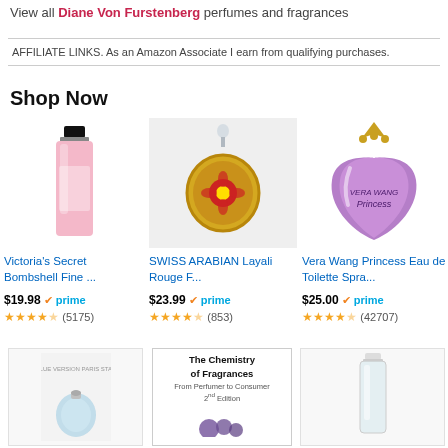View all Diane Von Furstenberg perfumes and fragrances
AFFILIATE LINKS. As an Amazon Associate I earn from qualifying purchases.
Shop Now
[Figure (photo): Victoria's Secret Bombshell Fine fragrance bottle - tall pink rectangular bottle with black cap]
Victoria's Secret Bombshell Fine ...
$19.98 prime ★★★★☆ (5175)
[Figure (photo): SWISS ARABIAN Layali Rouge F... - ornate gold round bottle with red flower design on gray background]
SWISS ARABIAN Layali Rouge F...
$23.99 prime ★★★★☆ (853)
[Figure (photo): Vera Wang Princess Eau de Toilette - purple heart-shaped bottle with gold crown cap]
Vera Wang Princess Eau de Toilette Spra...
$25.00 prime ★★★★☆ (42707)
[Figure (photo): Blue perfume bottle on white background - small round light blue fragrance bottle]
[Figure (photo): The Chemistry of Fragrances book cover - From Perfumer to Consumer 2nd Edition]
[Figure (photo): Clear/white perfume bottle on white background]